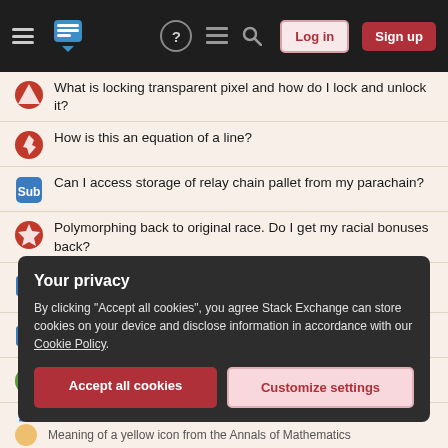Stack Exchange navigation header with logo, Log in and Sign up buttons
What is locking transparent pixel and how do I lock and unlock it?
How is this an equation of a line?
Can I access storage of relay chain pallet from my parachain?
Polymorphing back to original race. Do I get my racial bonuses back?
What do modern chess players understand about the game that previous generations did not?
Do I always need a comma after a person's name?
Preserving medicines on a long-haul space flight?
Techniques for MNAR without Imputation
How to make these four symbols in Latex?
Your privacy
By clicking "Accept all cookies", you agree Stack Exchange can store cookies on your device and disclose information in accordance with our Cookie Policy.
Meaning of a yellow icon from the Annals of Mathematics